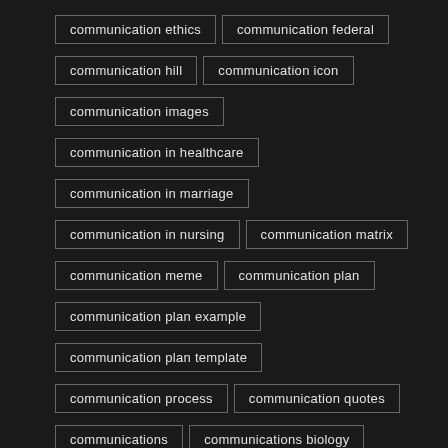communication ethics
communication federal
communication hill
communication icon
communication images
communication in healthcare
communication in marriage
communication in nursing
communication matrix
communication meme
communication plan
communication plan example
communication plan template
communication process
communication quotes
communications
communications biology